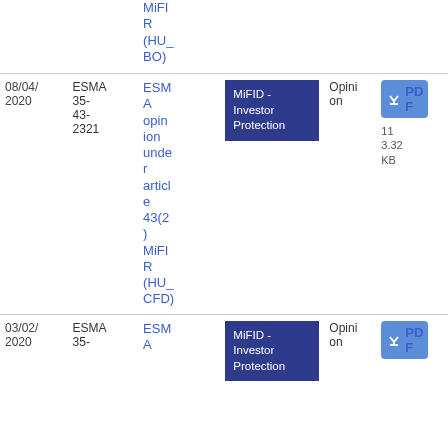| Date | Reference | Title | Topic | Type | File |
| --- | --- | --- | --- | --- | --- |
|  |  | MiFIR (HU_BO) | MiFID - Investor Protection | Opinion | PDF 113.32 KB |
| 08/04/2020 | ESMA 35-43-2321 | ESMA opinion under article 43(2) MiFIR (HU_CFD) | MiFID - Investor Protection | Opinion | PDF 113.32 KB |
| 03/02/2020 | ESMA 35- | ESMA | MiFID - Investor Protection | Opinion | PDF |